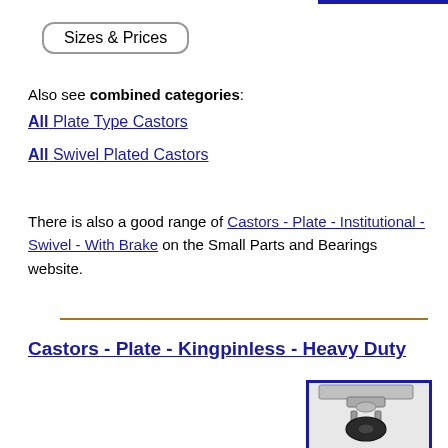Sizes & Prices
Also see combined categories:
All Plate Type Castors
All Swivel Plated Castors
There is also a good range of Castors - Plate - Institutional - Swivel - With Brake on the Small Parts and Bearings website.
Castors - Plate - Kingpinless - Heavy Duty
[Figure (photo): Photo of a heavy duty kingpinless plate castor with swivel mechanism, showing a metal top plate and dark rubber wheel]